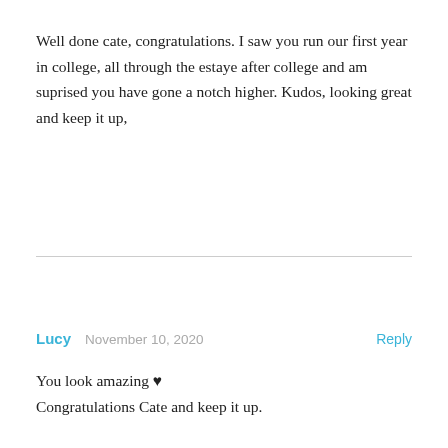Well done cate, congratulations. I saw you run our first year in college, all through the estaye after college and am suprised you have gone a notch higher. Kudos, looking great and keep it up,
Lucy  November 10, 2020  Reply
You look amazing ♥
Congratulations Cate and keep it up.